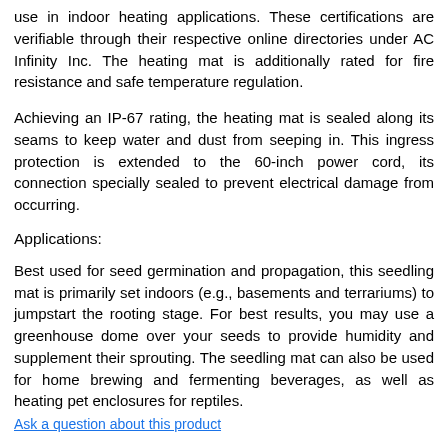use in indoor heating applications. These certifications are verifiable through their respective online directories under AC Infinity Inc. The heating mat is additionally rated for fire resistance and safe temperature regulation.
Achieving an IP-67 rating, the heating mat is sealed along its seams to keep water and dust from seeping in. This ingress protection is extended to the 60-inch power cord, its connection specially sealed to prevent electrical damage from occurring.
Applications:
Best used for seed germination and propagation, this seedling mat is primarily set indoors (e.g., basements and terrariums) to jumpstart the rooting stage. For best results, you may use a greenhouse dome over your seeds to provide humidity and supplement their sprouting. The seedling mat can also be used for home brewing and fermenting beverages, as well as heating pet enclosures for reptiles.
Ask a question about this product